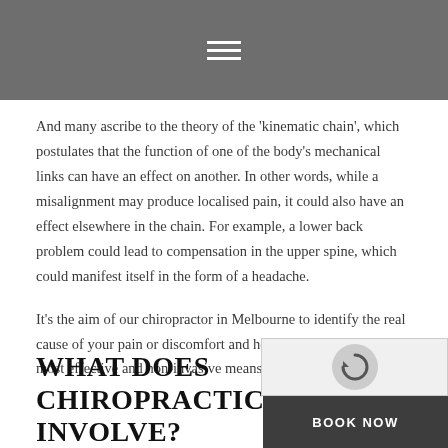≡
And many ascribe to the theory of the 'kinematic chain', which postulates that the function of one of the body's mechanical links can have an effect on another. In other words, while a misalignment may produce localised pain, it could also have an effect elsewhere in the chain. For example, a lower back problem could lead to compensation in the upper spine, which could manifest itself in the form of a headache.
It's the aim of our chiropractor in Melbourne to identify the real cause of your pain or discomfort and help alleviate it using the most effective and non-invasive means.
WHAT DOES CHIROPRACTIC CARE INVOLVE?